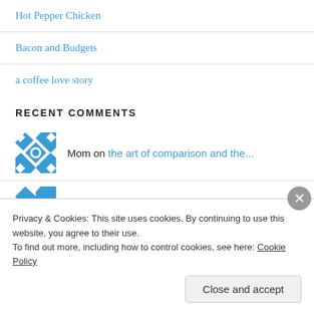Hot Pepper Chicken
Bacon and Budgets
a coffee love story
RECENT COMMENTS
Mom on the art of comparison and the...
Privacy & Cookies: This site uses cookies. By continuing to use this website, you agree to their use. To find out more, including how to control cookies, see here: Cookie Policy